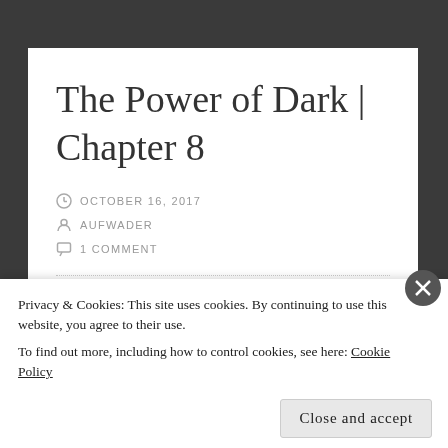The Power of Dark | Chapter 8
OCTOBER 16, 2017
AUFWADER
1 COMMENT
[Figure (other): Dark navy/black banner image at bottom of article]
Privacy & Cookies: This site uses cookies. By continuing to use this website, you agree to their use.
To find out more, including how to control cookies, see here: Cookie Policy
Close and accept